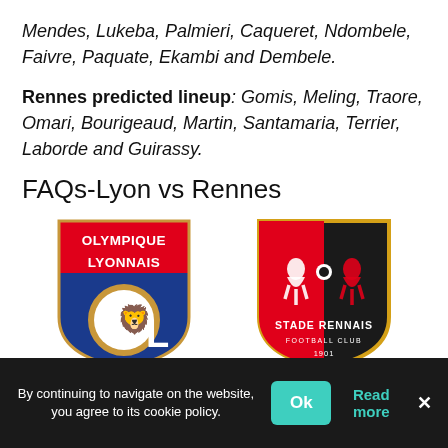Mendes, Lukeba, Palmieri, Caqueret, Ndombele, Faivre, Paquate, Ekambi and Dembele.
Rennes predicted lineup: Gomis, Meling, Traore, Omari, Bourigeaud, Martin, Santamaria, Terrier, Laborde and Guirassy.
FAQs-Lyon vs Rennes
[Figure (logo): Olympique Lyonnais club crest - blue and red shield with OL letters and lion, white text OLYMPIQUE LYONNAIS on red background]
[Figure (logo): Stade Rennais Football Club crest - black and red shield with ermine figures, gold border, text STADE RENNAIS FOOTBALL CLUB 1901]
By continuing to navigate on the website, you agree to its cookie policy.